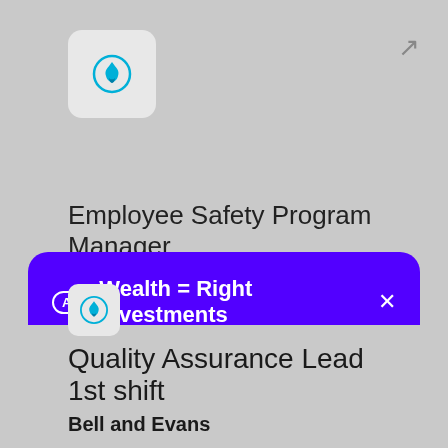[Figure (logo): Fire/Workstream app icon in rounded square box, top left]
Employee Safety Program Manager
[Figure (infographic): Advertisement card with purple background. Ad badge, title 'Wealth = Right investments', body text about free fractional shares, and LEARN MORE button.]
[Figure (logo): Fire/Workstream app icon in rounded square box, bottom left]
Quality Assurance Lead 1st shift
Bell and Evans